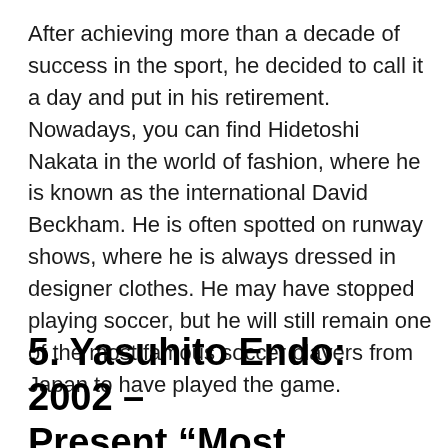After achieving more than a decade of success in the sport, he decided to call it a day and put in his retirement. Nowadays, you can find Hidetoshi Nakata in the world of fashion, where he is known as the international David Beckham. He is often spotted on runway shows, where he is always dressed in designer clothes. He may have stopped playing soccer, but he will still remain one of the most famous soccer players from Japan to have played the game.
5. Yasuhito Endo: 2002 – Present “Most Capped Player for Japan”